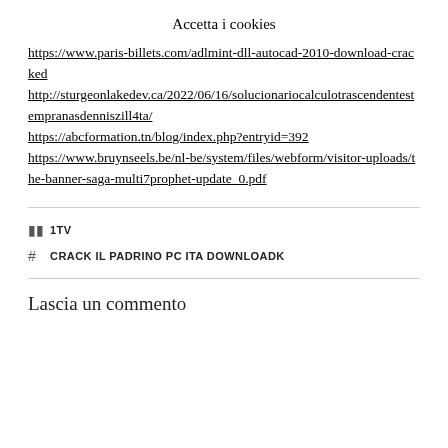Accetta i cookies
https://www.paris-billets.com/adlmint-dll-autocad-2010-download-cracked
http://sturgeonlakedev.ca/2022/06/16/solucionariocalculotrascendentestempranasdenniszill4ta/
https://abcformation.tn/blog/index.php?entryid=392
https://www.bruynseels.be/nl-be/system/files/webform/visitor-uploads/the-banner-saga-multi7prophet-update_0.pdf
1TV
CRACK IL PADRINO PC ITA DOWNLOADK
Lascia un commento